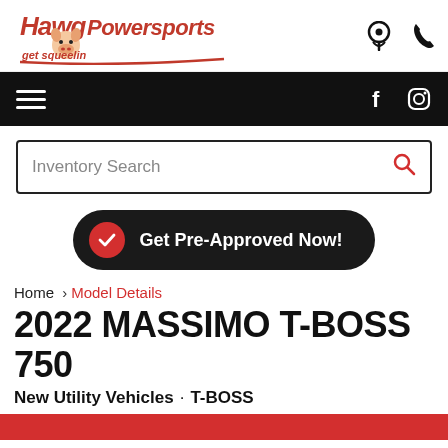[Figure (logo): Hawg Powersports logo with pig mascot and red text 'get squeelin']
Navigation bar with hamburger menu, Facebook and Instagram icons
Inventory Search
[Figure (infographic): Get Pre-Approved Now! button with red checkmark on dark background]
Home › Model Details
2022 MASSIMO T-BOSS 750
New Utility Vehicles · T-BOSS